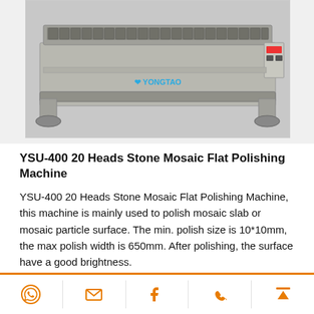[Figure (photo): YSU-400 20 Heads Stone Mosaic Flat Polishing Machine — industrial polishing machine with multiple grinding heads on a horizontal frame, branded YONGTAO]
YSU-400 20 Heads Stone Mosaic Flat Polishing Machine
YSU-400 20 Heads Stone Mosaic Flat Polishing Machine, this machine is mainly used to polish mosaic slab or mosaic particle surface. The min. polish size is 10*10mm, the max polish width is 650mm. After polishing, the surface have a good brightness.
The stone mosaic flat polishing machine have the advantage of high level of automation, high efficient, and stable quality.
[Figure (other): Bottom navigation bar with 5 icons: WhatsApp, email, Facebook, phone, and scroll-to-top, in orange color with dividers]